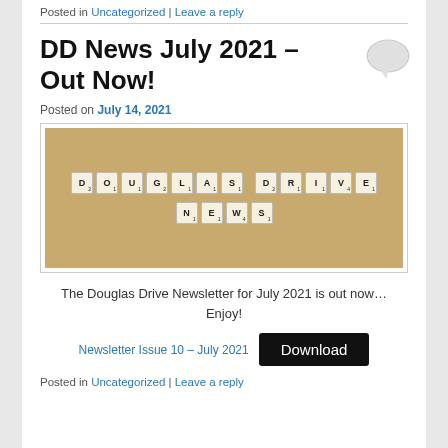Posted in Uncategorized | Leave a reply
DD News July 2021 – Out Now!
Posted on July 14, 2021
[Figure (photo): Scrabble tiles on a wooden surface spelling out DOUGLAS DRIVE NEWS]
The Douglas Drive Newsletter for July 2021 is out now… Enjoy!
Newsletter Issue 10 – July 2021   Download
Posted in Uncategorized | Leave a reply